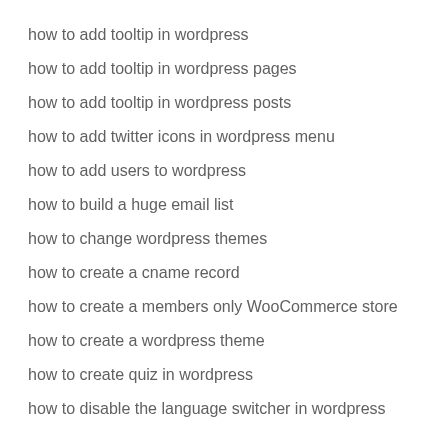how to add tooltip in wordpress
how to add tooltip in wordpress pages
how to add tooltip in wordpress posts
how to add twitter icons in wordpress menu
how to add users to wordpress
how to build a huge email list
how to change wordpress themes
how to create a cname record
how to create a members only WooCommerce store
how to create a wordpress theme
how to create quiz in wordpress
how to disable the language switcher in wordpress